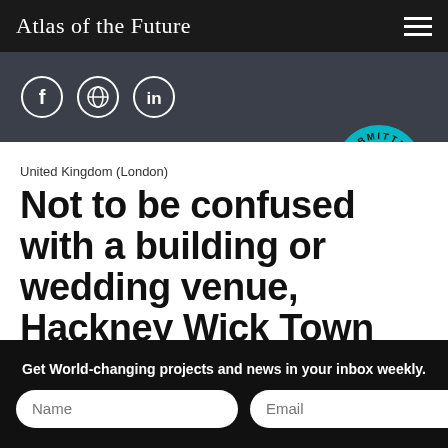Atlas of the Future
[Figure (infographic): Social media icons: Facebook, Twitter/Globe, LinkedIn in white circle outlines on dark background, and a teal circular badge reading SUBMITTED BY YOU]
United Kingdom (London)
Not to be confused with a building or wedding venue, Hackney Wick Town Hall is an event
Get World-changing projects and news in your inbox weekly.